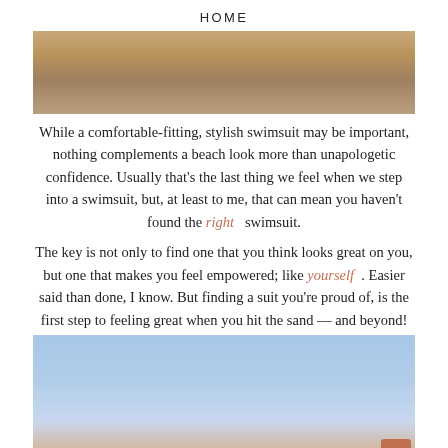HOME
[Figure (photo): Top portion of a beach photo showing sandy/rocky shore texture in warm brown and tan tones]
While a comfortable-fitting, stylish swimsuit may be important, nothing complements a beach look more than unapologetic confidence. Usually that's the last thing we feel when we step into a swimsuit, but, at least to me, that can mean you haven't found the right swimsuit.
The key is not only to find one that you think looks great on you, but one that makes you feel empowered; like yourself. Easier said than done, I know. But finding a suit you're proud of, is the first step to feeling great when you hit the sand — and beyond!
[Figure (photo): Woman at the beach wearing a blue patterned headband, touching her hair, with blue sky background]